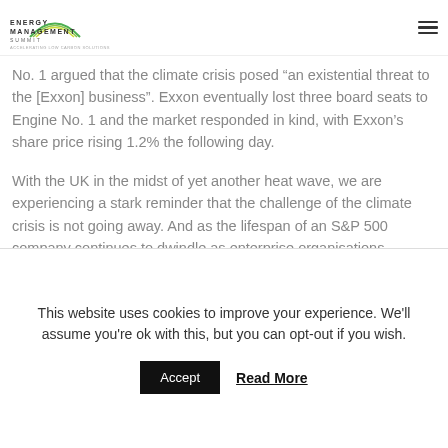Energy Management Summit
No. 1 argued that the climate crisis posed “an existential threat to the [Exxon] business”. Exxon eventually lost three board seats to Engine No. 1 and the market responded in kind, with Exxon’s share price rising 1.2% the following day.
With the UK in the midst of yet another heat wave, we are experiencing a stark reminder that the challenge of the climate crisis is not going away. And as the lifespan of an S&P 500 company continues to dwindle as enterprise organisations
This website uses cookies to improve your experience. We'll assume you're ok with this, but you can opt-out if you wish.
Accept   Read More